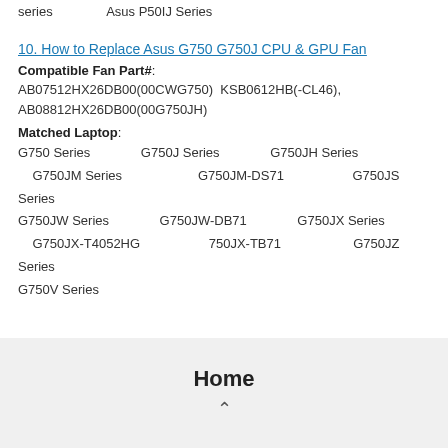series    Asus P50IJ Series
10. How to Replace Asus G750 G750J CPU & GPU Fan
Compatible Fan Part#: AB07512HX26DB00(00CWG750)  KSB0612HB(-CL46), AB08812HX26DB00(00G750JH)
Matched Laptop: G750 Series   G750J Series   G750JH Series   G750JM Series   G750JM-DS71   G750JS Series   G750JW Series   G750JW-DB71   G750JX Series   G750JX-T4052HG   750JX-TB71   G750JZ Series   G750V Series
Home